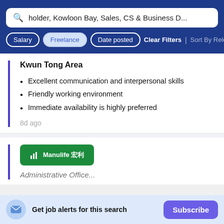holder, Kowloon Bay, Sales, CS & Business D...
Salary | Freelance | Date posted | Clear Filters | Sort By Rele
Kwun Tong Area
Excellent communication and interpersonal skills
Friendly working environment
Immediate availability is highly preferred
8d ago
[Figure (logo): Manulife logo button in green with bar chart icon and Chinese characters]
Get job alerts for this search
Subscribe